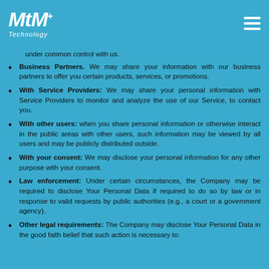MtM+ Technology
under common control with us.
Business Partners: We may share your information with our business partners to offer you certain products, services, or promotions.
With Service Providers: We may share your personal information with Service Providers to monitor and analyze the use of our Service, to contact you.
With other users: when you share personal information or otherwise interact in the public areas with other users, such information may be viewed by all users and may be publicly distributed outside.
With your consent: We may disclose your personal information for any other purpose with your consent.
Law enforcement: Under certain circumstances, the Company may be required to disclose Your Personal Data if required to do so by law or in response to valid requests by public authorities (e.g., a court or a government agency).
Other legal requirements: The Company may disclose Your Personal Data in the good faith belief that such action is necessary to: